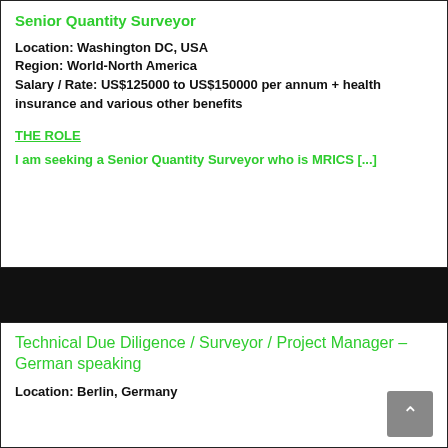Senior Quantity Surveyor
Location: Washington DC, USA
Region: World-North America
Salary / Rate: US$125000 to US$150000 per annum + health insurance and various other benefits
THE ROLE
I am seeking a Senior Quantity Surveyor who is MRICS [...]
Technical Due Diligence / Surveyor / Project Manager – German speaking
Location: Berlin, Germany